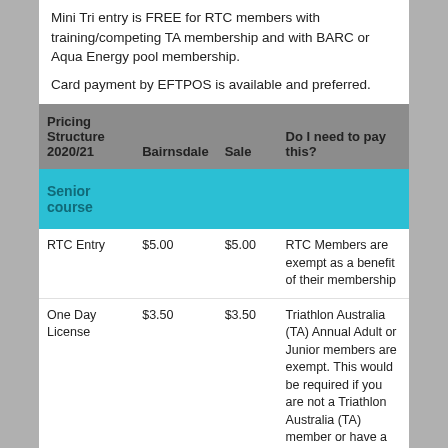Mini Tri entry is FREE for RTC members with training/competing TA membership and with BARC or Aqua Energy pool membership.
Card payment by EFTPOS is available and preferred.
| Pricing Structure 2020/21 | Bairnsdale | Sale | Do I need to pay this? |
| --- | --- | --- | --- |
| Senior course |  |  |  |
| RTC Entry | $5.00 | $5.00 | RTC Members are exempt as a benefit of their membership |
| One Day License | $3.50 | $3.50 | Triathlon Australia (TA) Annual Adult or Junior members are exempt. This would be required if you are not a Triathlon Australia (TA) member or have a TA non-competing/non training membership |
| Pool Entry | $5.50 | $5.00 | BARC/AQUA Energy pool |